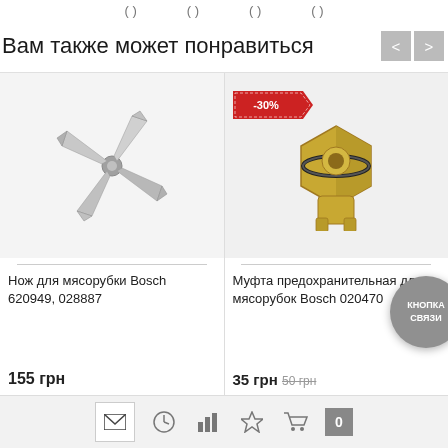( ) ( ) ( ) ( )
Вам также может понравиться
[Figure (photo): Product photo: metal cross-shaped knife blade for meat grinder (Нож для мясорубки Bosch 620949, 028887)]
Нож для мясорубки Bosch 620949, 028887
155 грн
[Figure (photo): Product photo: beige/yellow safety coupling for meat grinder (Муфта предохранительная для мясорубок Bosch 020470) with -30% discount badge]
Муфта предохранительная для мясорубок Bosch 020470
35 грн  50 грн
[Figure (other): КНОПКА СВЯЗИ circular contact button overlay]